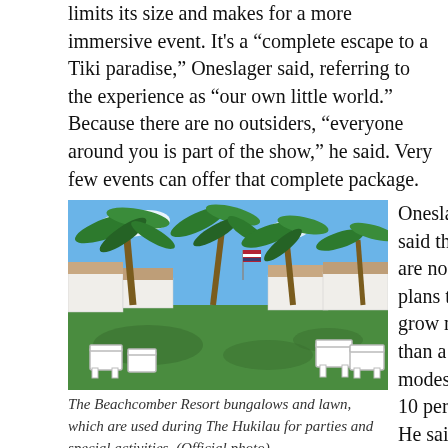limits its size and makes for a more immersive event. It's a “complete escape to a Tiki paradise,” Oneslager said, referring to the experience as “our own little world.” Because there are no outsiders, “everyone around you is part of the show,” he said. Very few events can offer that complete package.
[Figure (photo): The Beachcomber Resort bungalows and lawn with palm trees, white lawn chairs on green grass, white buildings in the background, blue sky.]
The Beachcomber Resort bungalows and lawn, which are used during The Hukilau for parties and special activities. (Official photo)
Oneslager said there are no plans to grow more than a modest 5 or 10 percent. He said he will